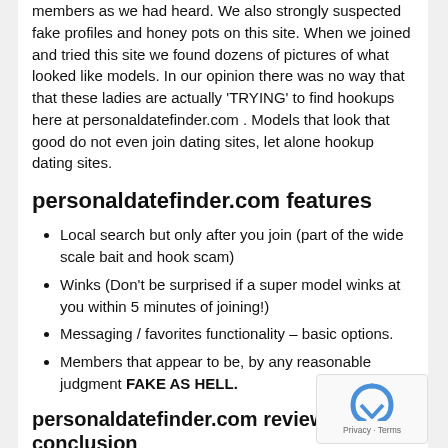members as we had heard. We also strongly suspected fake profiles and honey pots on this site. When we joined and tried this site we found dozens of pictures of what looked like models. In our opinion there was no way that that these ladies are actually 'TRYING' to find hookups here at personaldatefinder.com . Models that look that good do not even join dating sites, let alone hookup dating sites.
personaldatefinder.com features
Local search but only after you join (part of the wide scale bait and hook scam)
Winks (Don't be surprised if a super model winks at you within 5 minutes of joining!)
Messaging / favorites functionality – basic options.
Members that appear to be, by any reasonable judgment FAKE AS HELL.
personaldatefinder.com reviews conclusion
Like hundreds of other adult dating sites, personaldatefinder.com does not seem to provide...